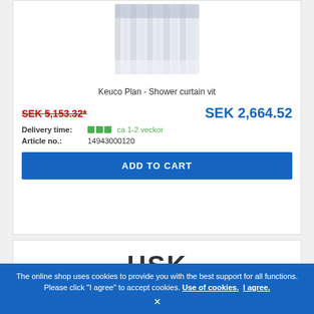[Figure (photo): Keuco Plan shower curtain product image - white curtain hanging]
Keuco Plan - Shower curtain vit
SEK 5,153.32* (strikethrough, old price) | SEK 2,664.52 (new price)
Delivery time: ca 1-2 veckor
Article no.: 14943000120
ADD TO CART
[Figure (logo): HSK logo partial view]
The online shop uses cookies to provide you with the best support for all functions. Please click "I agree" to accept cookies. Use of cookies. I agree.